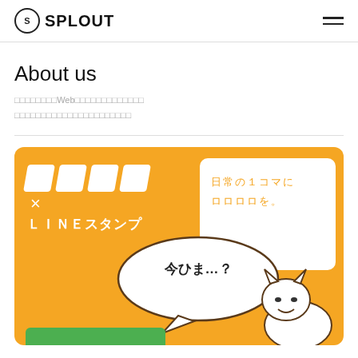SPLOUT
About us
□□□□□□□□Web□□□□□□□□□□□□□
□□□□□□□□□□□□□□□□□□□□□□
[Figure (illustration): Orange background card showing logo blocks, '× LINEスタンプ' text, a white inset card with '日常の１コマに ロロロロを。' text in orange, a speech bubble with '今ひま…？' text, and a cat character illustration. A green button is partially visible at the bottom.]